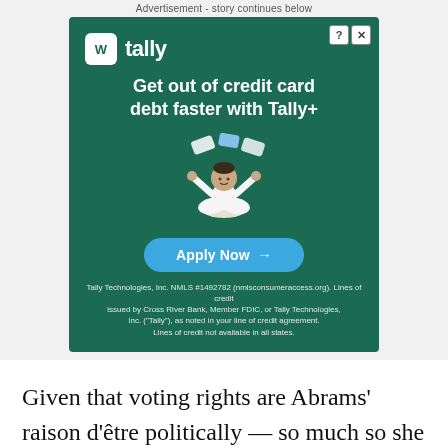Advertisement - story continues below
[Figure (illustration): Tally advertisement: dark green background with Tally logo and brand name, headline 'Get out of credit card debt faster with Tally+', illustrated person in meditation pose with credit cards floating, 'Apply Now →' call-to-action button in blue, and small legal disclaimer text at bottom.]
Given that voting rights are Abrams' raison d'être politically — so much so she refused to concede the 2018 Georgia gubernatorial race, partially over what she viewed as disenfranchisement